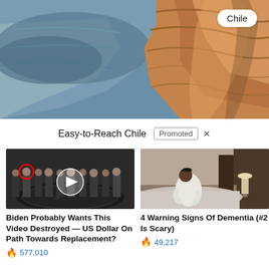[Figure (photo): Aerial/landscape photo of a rocky canyon or open-pit mine in Chile with orange and brown rock formations and blue-grey terrain. A white pill-shaped badge with 'Chile' label is in the top right corner.]
Easy-to-Reach Chile   Promoted ×
[Figure (photo): Photo of group of men in suits at CIA headquarters with a red circle highlighting one figure and a video play button overlay.]
Biden Probably Wants This Video Destroyed — US Dollar On Path Towards Replacement?
🔥 577,010
[Figure (photo): Photo of an elderly person sitting on a bed in a room, hunched over, in a white robe.]
4 Warning Signs Of Dementia (#2 Is Scary)
🔥 49,217